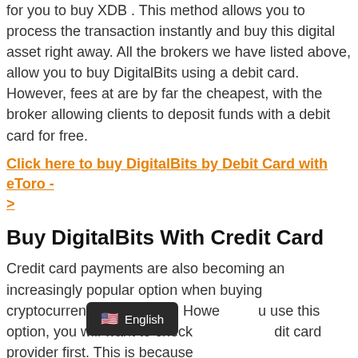for you to buy XDB . This method allows you to process the transaction instantly and buy this digital asset right away. All the brokers we have listed above, allow you to buy DigitalBits using a debit card. However, fees at are by far the cheapest, with the broker allowing clients to deposit funds with a debit card for free.
Click here to buy DigitalBits by Debit Card with eToro - >
Buy DigitalBits With Credit Card
Credit card payments are also becoming an increasingly popular option when buying cryptocurrencies like XDB . However, if you use this option, you will want to check with your credit card provider first. This is because